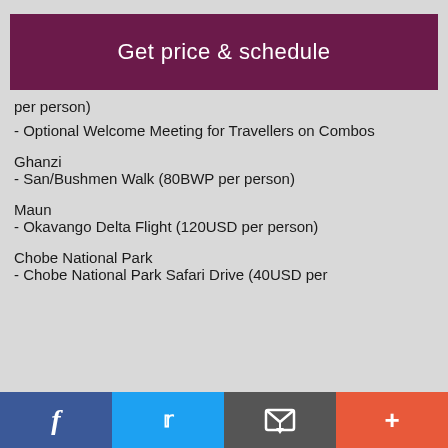Get price & schedule
per person)
- Optional Welcome Meeting for Travellers on Combos
Ghanzi
- San/Bushmen Walk (80BWP per person)
Maun
- Okavango Delta Flight (120USD per person)
Chobe National Park
- Chobe National Park Safari Drive (40USD per
f  Twitter  Share  +